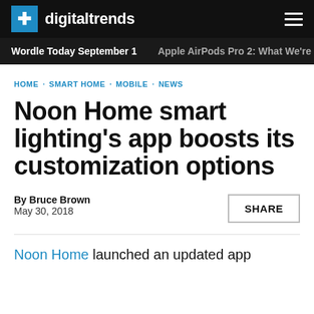digitaltrends
Wordle Today September 1   Apple AirPods Pro 2: What We're
HOME · SMART HOME · MOBILE · NEWS
Noon Home smart lighting's app boosts its customization options
By Bruce Brown
May 30, 2018
SHARE
Noon Home launched an updated app